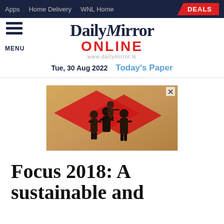Apps   Home Delivery   WNL Home   DEALS
[Figure (logo): Daily Mirror Online logo with menu icon, date Tue, 30 Aug 2022, and Today's Paper link]
[Figure (photo): Advertisement banner with red diamond shape and silhouettes of people (family with children)]
Focus 2018: A sustainable and